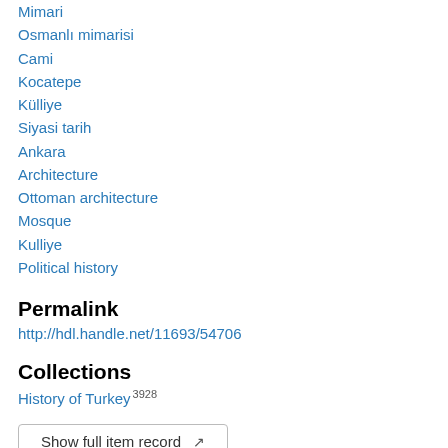Mimari
Osmanlı mimarisi
Cami
Kocatepe
Külliye
Siyasi tarih
Ankara
Architecture
Ottoman architecture
Mosque
Kulliye
Political history
Permalink
http://hdl.handle.net/11693/54706
Collections
History of Turkey 3928
Show full item record ↗